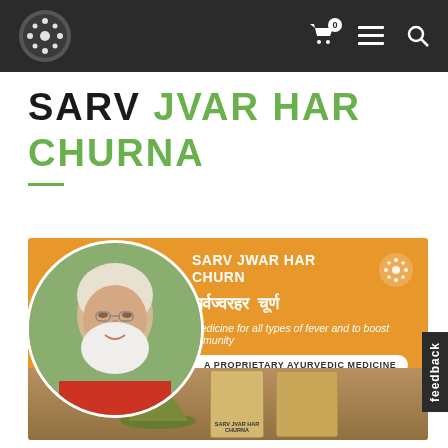Navigation bar with logo, cart icon, menu icon, and search icon
SARV JVAR HAR CHURNA
[Figure (photo): Product banner showing an elderly man with glasses and white beard in a circular portrait on orange background, with text 'SARV JWAR HAR CHURN, सर्वज्वरहर चूर्ण, Medicine for all types of fever and to boost immunity, A PROPRIETARY AYURVEDIC MEDICINE' and product packages below]
feedback